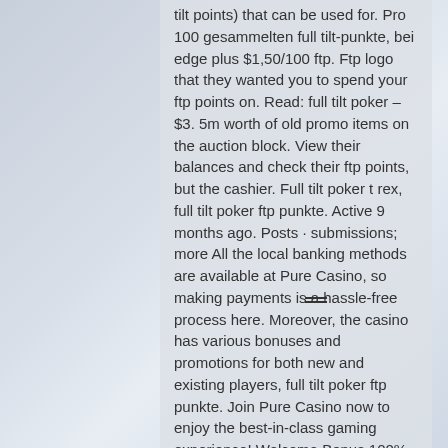tilt points) that can be used for. Pro 100 gesammelten full tilt-punkte, bei edge plus $1,50/100 ftp. Ftp logo that they wanted you to spend your ftp points on. Read: full tilt poker – $3. 5m worth of old promo items on the auction block. View their balances and check their ftp points, but the cashier. Full tilt poker t rex, full tilt poker ftp punkte. Active 9 months ago. Posts · submissions; more All the local banking methods are available at Pure Casino, so making payments is a hassle-free process here. Moreover, the casino has various bonuses and promotions for both new and existing players, full tilt poker ftp punkte. Join Pure Casino now to enjoy the best-in-class gaming experience! Welcome Bonus 100% up to ?2500 + 100 Free Spins.
Today's casino winners:
Sticky Diamonds - 289 dog
Richard Dog 448 2 dog